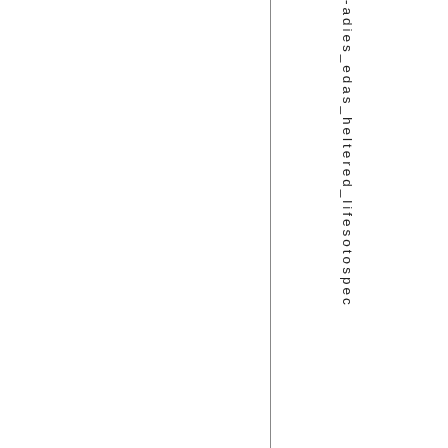-adies_edas_heltered_lifesotospec